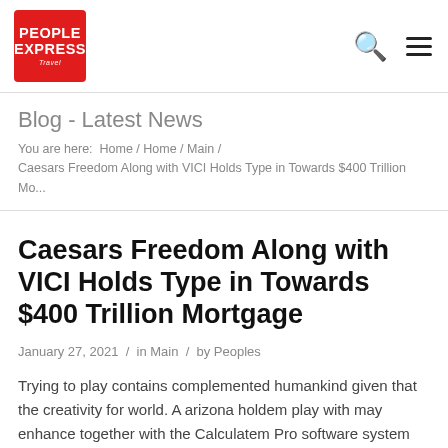PEOPLE EXPRESS Travel
Blog - Latest News
You are here:  Home / Home / Main / Caesars Freedom Along with VICI Holds Type in Towards $400 Trillion Mo...
Caesars Freedom Along with VICI Holds Type in Towards $400 Trillion Mortgage
January 27, 2021  /  in Main  /  by Peoples
Trying to play contains complemented humankind given that the creativity for world. A arizona holdem play with may enhance together with the Calculatem Pro software system dramatically. As soon as you join High Casino, you can be met